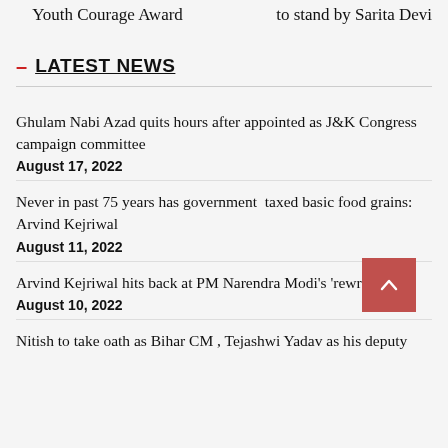Youth Courage Award
to stand by Sarita Devi
– LATEST NEWS
Ghulam Nabi Azad quits hours after appointed as J&K Congress campaign committee
August 17, 2022
Never in past 75 years has government taxed basic food grains: Arvind Kejriwal
August 11, 2022
Arvind Kejriwal hits back at PM Narendra Modi's 'rewri' jibe
August 10, 2022
Nitish to take oath as Bihar CM , Tejashwi Yadav as his deputy